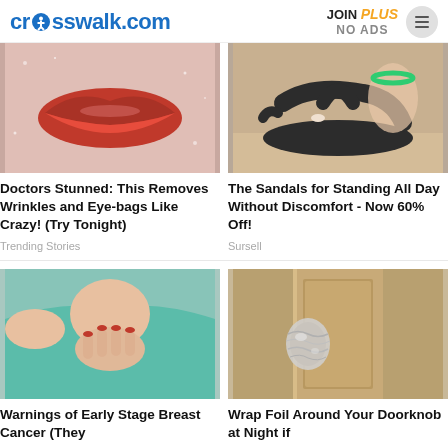crosswalk.com | JOIN PLUS NO ADS
[Figure (photo): Close-up of red lips with glittery skin background]
Doctors Stunned: This Removes Wrinkles and Eye-bags Like Crazy! (Try Tonight)
Trending Stories
[Figure (photo): Black orthopedic sandals on a foot with green anklet]
The Sandals for Standing All Day Without Discomfort - Now 60% Off!
Sursell
[Figure (photo): Woman in teal shirt with hand on chest, red nails]
Warnings of Early Stage Breast Cancer (They
[Figure (photo): Door knob with aluminum foil wrapped around it]
Wrap Foil Around Your Doorknob at Night if